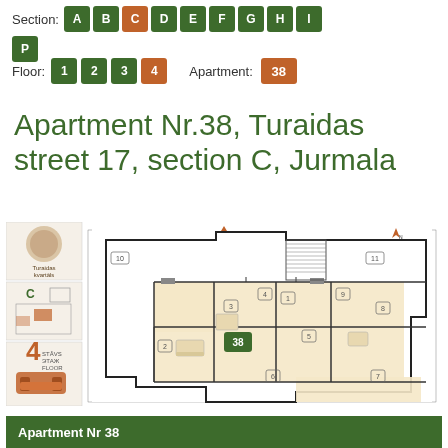Section: A B C D E F G H I P
Floor: 1 2 3 4  Apartment: 38
Apartment Nr.38, Turaidas street 17, section C, Jurmala
[Figure (engineering-diagram): Apartment floor plan for Apartment Nr.38, section C, 4th floor, Turaidas street 17, Jurmala. Shows layout with numbered rooms (1-11), room 38 highlighted in green, compass rose, and sidebar with building logo, section C diagram, and floor indicator showing 4th floor in orange.]
Apartment Nr 38